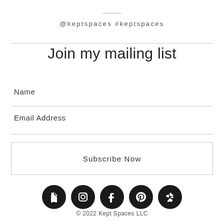@keptspaces #keptspaces
Join my mailing list
Name
Email Address
Subscribe Now
[Figure (other): Row of five circular social media icons (Houzz, Instagram, Facebook, Pinterest, Yelp) in black]
© 2022 Kept Spaces LLC